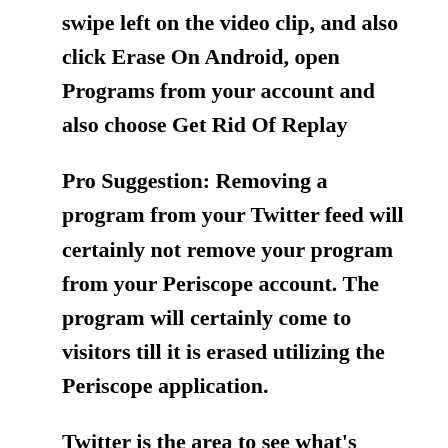swipe left on the video clip, and also click Erase On Android, open Programs from your account and also choose Get Rid Of Replay
Pro Suggestion: Removing a program from your Twitter feed will certainly not remove your program from your Periscope account. The program will certainly come to visitors till it is erased utilizing the Periscope application.
Twitter is the area to see what's taking